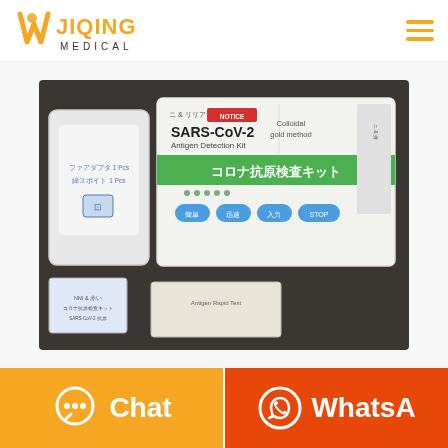JIQING MEDICAL
[Figure (photo): SARS-CoV-2 Antigen Detection Kit (Colloidal gold method) product photo showing the test kit box labeled in Japanese as コロナ抗原検査キット, along with accessories including a sample collection bag and test swabs on a dark surface.]
Chat
WhatsA